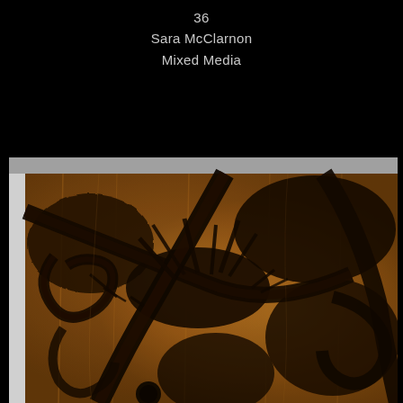36
Sara McClarnon
Mixed Media
[Figure (photo): Close-up photograph of a mixed media artwork on wood panel featuring burned/pyrography abstract forms with dark scorched lines and warm amber-brown tones creating an organic, intricate pattern on the wood surface.]